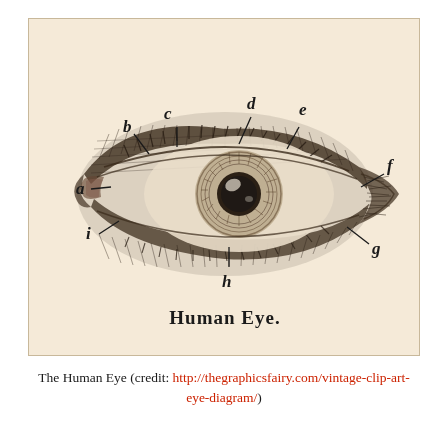[Figure (schematic): Vintage engraving-style anatomical diagram of the Human Eye, labeled with letters a through i pointing to different anatomical parts. The eye is shown in a frontal/slightly angled view with detailed cross-hatching. Labels: a (inner corner/caruncle), b (upper eyelid tissue), c (upper eyelid), d (upper region/brow), e (upper outer area), f (outer corner), g (lower outer area), h (lower eyelid), i (lower inner corner). Caption reads 'Human Eye.' in serif bold font.]
The Human Eye (credit: http://thegraphicsfairy.com/vintage-clip-art-eye-diagram/)